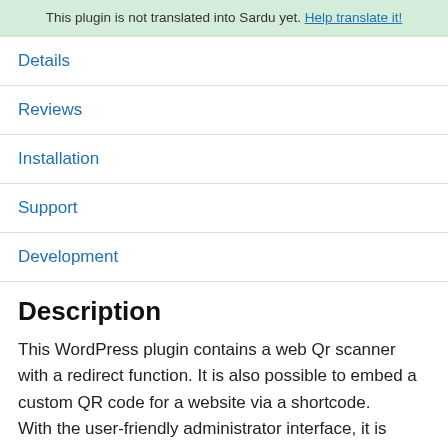This plugin is not translated into Sardu yet. Help translate it!
Details
Reviews
Installation
Support
Development
Description
This WordPress plugin contains a web Qr scanner with a redirect function. It is also possible to embed a custom QR code for a website via a shortcode. With the user-friendly administrator interface, it is possible to make extensive settings such as the